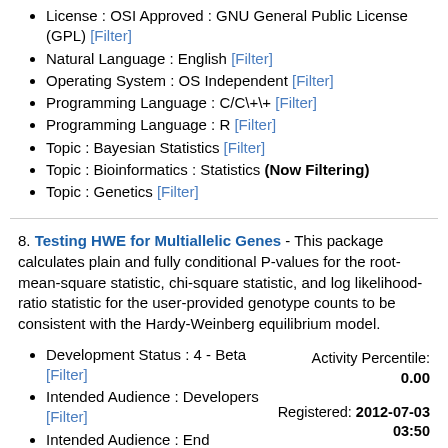License : OSI Approved : GNU General Public License (GPL) [Filter]
Natural Language : English [Filter]
Operating System : OS Independent [Filter]
Programming Language : C/C\+\+ [Filter]
Programming Language : R [Filter]
Topic : Bayesian Statistics [Filter]
Topic : Bioinformatics : Statistics (Now Filtering)
Topic : Genetics [Filter]
8. Testing HWE for Multiallelic Genes - This package calculates plain and fully conditional P-values for the root-mean-square statistic, chi-square statistic, and log likelihood-ratio statistic for the user-provided genotype counts to be consistent with the Hardy-Weinberg equilibrium model.
Development Status : 4 - Beta [Filter]
Intended Audience : Developers [Filter]
Intended Audience : End Users/Desktop (Now Filtering)
Intended Audience : Other Audience [Filter]
License : OSI Approved : GNU General Public License (GPL) [Filter]
Natural Language : English [Filter]
Activity Percentile: 0.00
Registered: 2012-07-03 03:50